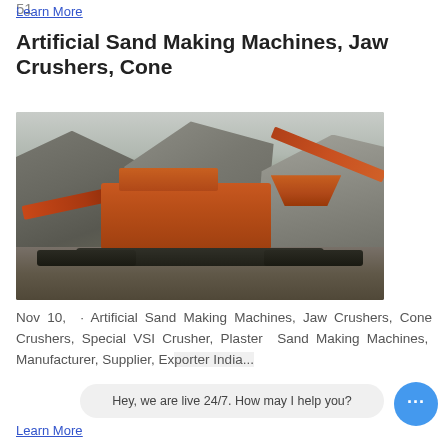51
Learn More
Artificial Sand Making Machines, Jaw Crushers, Cone
[Figure (photo): A large red mobile jaw crusher/sand making machine at a quarry site with rock face in the background. The machine has conveyors and a hopper, mounted on tracks.]
Nov 10,  · Artificial Sand Making Machines, Jaw Crushers, Cone Crushers, Special VSI Crusher, Plaster Sand Making Machines, Manufacturer, Supplier, Ex...
Hey, we are live 24/7. How may I help you?
Learn More